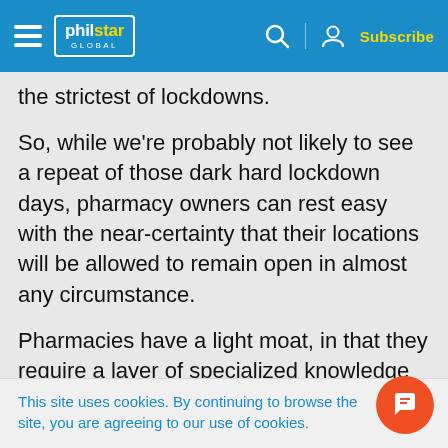philstar GLOBAL — Subscribe
the strictest of lockdowns.
So, while we're probably not likely to see a repeat of those dark hard lockdown days, pharmacy owners can rest easy with the near-certainty that their locations will be allowed to remain open in almost any circumstance.
Pharmacies have a light moat, in that they require a layer of specialized knowledge and licensing to operate, and are one of the
This site uses cookies. By continuing to browse the site, you are agreeing to our use of cookies.